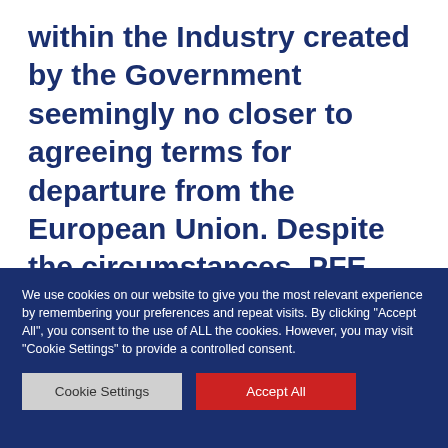within the Industry created by the Government seemingly no closer to agreeing terms for departure from the European Union. Despite the circumstances, PFE remain best placed to continue to provide our customers with the highest levels of
We use cookies on our website to give you the most relevant experience by remembering your preferences and repeat visits. By clicking "Accept All", you consent to the use of ALL the cookies. However, you may visit "Cookie Settings" to provide a controlled consent.